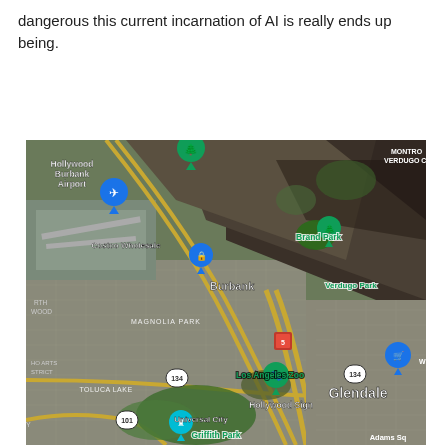dangerous this current incarnation of AI is really ends up being.
[Figure (map): Google Maps satellite view showing the Burbank, Glendale, and Hollywood area of Los Angeles. Visible landmarks include Hollywood Burbank Airport (with plane icon), Costco Wholesale, Brand Park, Burbank city label, Verdugo Park, Magnolia Park, Los Angeles Zoo, Griffith Park, Hollywood Sign, Universal City, Toluca Lake, Glendale, Adams Square, Montrose/Verdugo Canyon area. Highway markers visible include I-5, US-101, CA-134.]